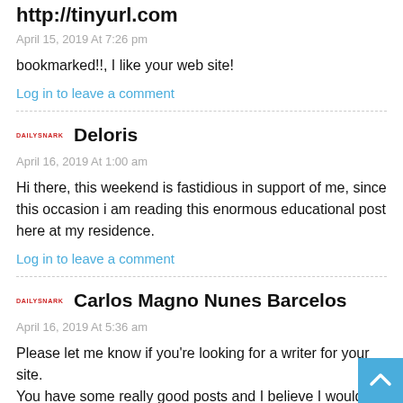http://tinyurl.com
April 15, 2019 At 7:26 pm
bookmarked!!, I like your web site!
Log in to leave a comment
Deloris
April 16, 2019 At 1:00 am
Hi there, this weekend is fastidious in support of me, since this occasion i am reading this enormous educational post here at my residence.
Log in to leave a comment
Carlos Magno Nunes Barcelos
April 16, 2019 At 5:36 am
Please let me know if you're looking for a writer for your site.
You have some really good posts and I believe I would be